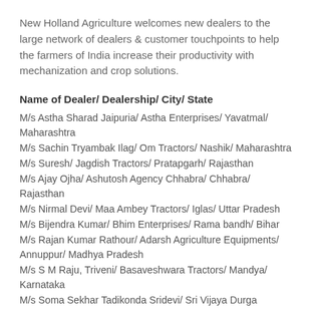New Holland Agriculture welcomes new dealers to the large network of dealers & customer touchpoints to help the farmers of India increase their productivity with mechanization and crop solutions.
Name of Dealer/ Dealership/ City/ State
M/s Astha Sharad Jaipuria/ Astha Enterprises/ Yavatmal/ Maharashtra
M/s Sachin Tryambak Ilag/ Om Tractors/ Nashik/ Maharashtra
M/s Suresh/ Jagdish Tractors/ Pratapgarh/ Rajasthan
M/s Ajay Ojha/ Ashutosh Agency Chhabra/ Chhabra/ Rajasthan
M/s Nirmal Devi/ Maa Ambey Tractors/ Iglas/ Uttar Pradesh
M/s Bijendra Kumar/ Bhim Enterprises/ Rama bandh/ Bihar
M/s Rajan Kumar Rathour/ Adarsh Agriculture Equipments/ Annuppur/ Madhya Pradesh
M/s S M Raju, Triveni/ Basaveshwara Tractors/ Mandya/ Karnataka
M/s Soma Sekhar Tadikonda Sridevi/ Sri Vijaya Durga